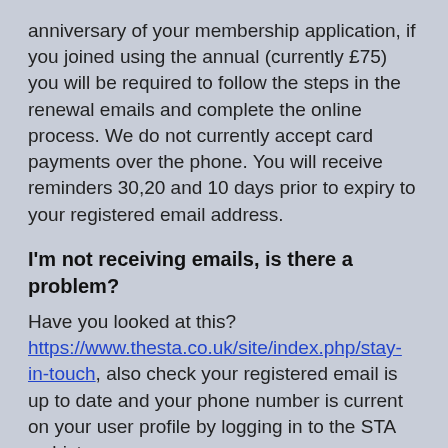anniversary of your membership application, if you joined using the annual (currently £75) you will be required to follow the steps in the renewal emails and complete the online process. We do not currently accept card payments over the phone. You will receive reminders 30,20 and 10 days prior to expiry to your registered email address.
I'm not receiving emails, is there a problem?
Have you looked at this? https://www.thesta.co.uk/site/index.php/stay-in-touch, also check your registered email is up to date and your phone number is current on your user profile by logging in to the STA webiste.
What are the benefits of STA membership?
“Members only” access to discounted products and services, free to access CPD, Unlimited phone and email support, personal contact details for the Founder Gary